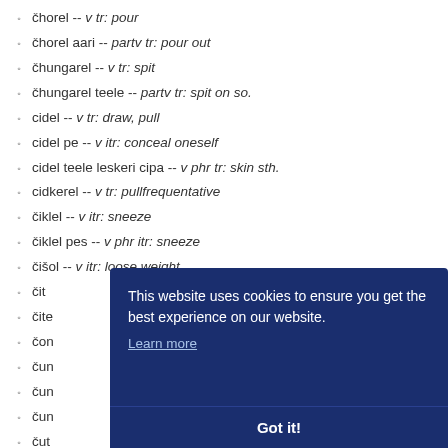čhorel -- v tr: pour
čhorel aari -- partv tr: pour out
čhungarel -- v tr: spit
čhungarel teele -- partv tr: spit on so.
cidel -- v tr: draw, pull
cidel pe -- v itr: conceal oneself
cidel teele leskeri cipa -- v phr tr: skin sth.
cidkerel -- v tr: pullfrequentative
čiklel -- v itr: sneeze
čiklel pes -- v phr itr: sneeze
čišol -- v itr: loose weight
čit ...
čite ...
čon ...
čun ...
čun ...
čun ...
čut ...
čuučel -- v itr: become empty
[Figure (screenshot): Cookie consent overlay with dark blue background. Text reads: 'This website uses cookies to ensure you get the best experience on our website.' with a 'Learn more' underlined link and a 'Got it!' button.]